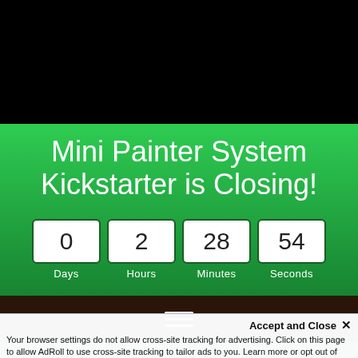[Figure (screenshot): Black top area representing a dark header/hero section of a webpage]
Mini Painter System Kickstarter is Closing!
0 Days  2 Hours  28 Minutes  54 Seconds
[Figure (screenshot): Dark brown navigation bar with hamburger menu icon (three white horizontal lines)]
Accept and Close ✕
Your browser settings do not allow cross-site tracking for advertising. Click on this page to allow AdRoll to use cross-site tracking to tailor ads to you. Learn more or opt out of this AdRoll tracking by clicking here. This message only appears once.